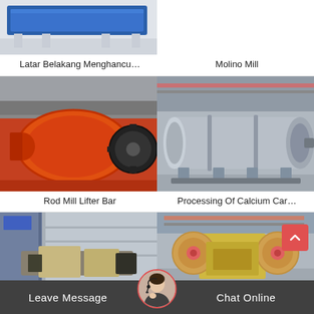[Figure (photo): Blue industrial machinery/vibrating screen on white legs in a factory, cropped at top]
Latar Belakang Menghancu…
[Figure (photo): Molino Mill — blank/grey area (right column, top row, image area)]
Molino Mill
[Figure (photo): Rod Mill Lifter Bar — large orange ball mill in a factory with red floor]
Rod Mill Lifter Bar
[Figure (photo): Processing Of Calcium Carbonate — large grey horizontal industrial drum/mill in a factory]
Processing Of Calcium Car…
[Figure (photo): Bottom left — black and beige industrial crusher/hammer mill machinery outdoors]
[Figure (photo): Bottom right — yellow and red jaw crusher with large flywheels in factory]
Leave Message
Chat Online